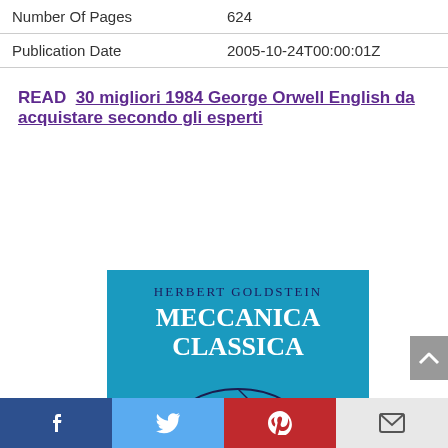| Number Of Pages | 624 |
| Publication Date | 2005-10-24T00:00:01Z |
READ  30 migliori 1984 George Orwell English da acquistare secondo gli esperti
[Figure (photo): Book cover of Meccanica Classica by Herbert Goldstein, blue cover with author name and title in serif font, with a partial arc/diagram at the bottom]
Facebook | Twitter | Pinterest | Email